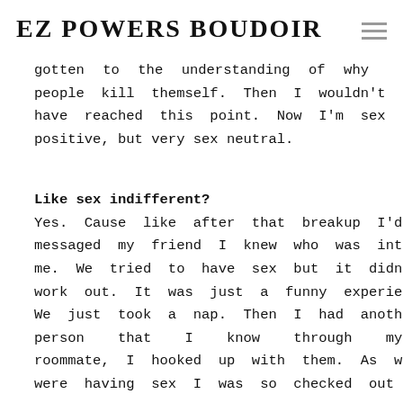EZ POWERS BOUDOIR
gotten to the understanding of why people kill themself. Then I wouldn't have reached this point. Now I'm sex positive, but very sex neutral.
Like sex indifferent?
Yes. Cause like after that breakup I'd messaged my friend I knew who was into me. We tried to have sex but it didn't work out. It was just a funny experience. We just took a nap. Then I had another person that I know through my roommate, I hooked up with them. As we were having sex I was so checked out